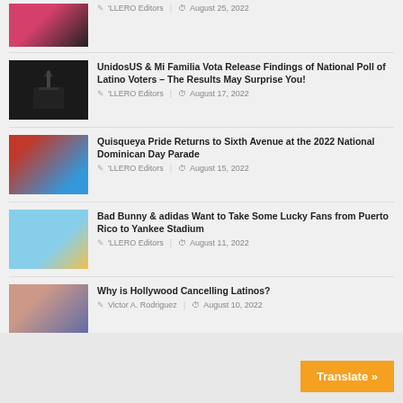'LLERO Editors | August 25, 2022
UnidosUS & Mi Familia Vota Release Findings of National Poll of Latino Voters – The Results May Surprise You! | 'LLERO Editors | August 17, 2022
Quisqueya Pride Returns to Sixth Avenue at the 2022 National Dominican Day Parade | 'LLERO Editors | August 15, 2022
Bad Bunny & adidas Want to Take Some Lucky Fans from Puerto Rico to Yankee Stadium | 'LLERO Editors | August 11, 2022
Why is Hollywood Cancelling Latinos? | Victor A. Rodriguez | August 10, 2022